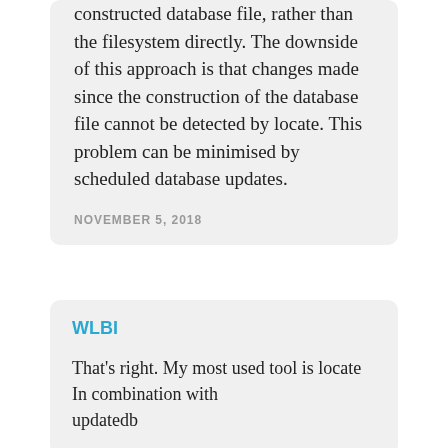constructed database file, rather than the filesystem directly. The downside of this approach is that changes made since the construction of the database file cannot be detected by locate. This problem can be minimised by scheduled database updates.
NOVEMBER 5, 2018
WLBI
That's right. My most used tool is locate
In combination with
updatedb